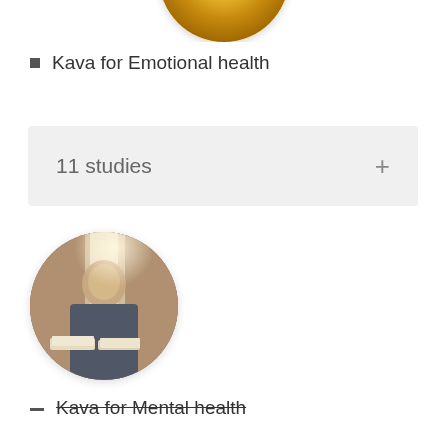[Figure (photo): Circular cropped photo partially visible at top of page, showing a yellow/orange colored food or plant item]
Kava for Emotional health
11 studies +
[Figure (photo): Circular cropped portrait photo of a person reading books or documents, warm lighting]
Kava for Mental health